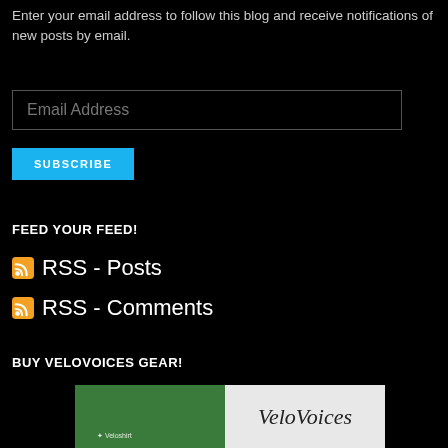Enter your email address to follow this blog and receive notifications of new posts by email.
Email Address
SUBSCRIBE
FEED YOUR FEED!
RSS - Posts
RSS - Comments
BUY VELOVOICES GEAR!
[Figure (photo): A person wearing a green Veloshirt t-shirt on the left, and the VeloVoices logo text on a white background on the right.]